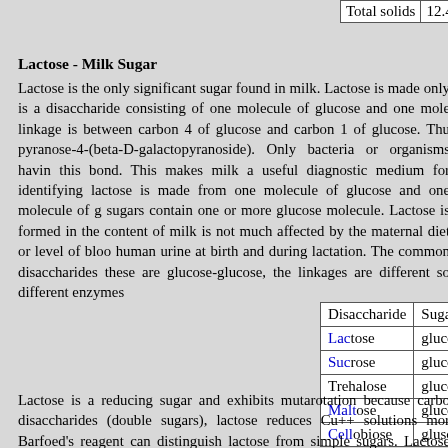| Total solids | 12.4 | 12.8 |
| --- | --- | --- |
Lactose - Milk Sugar
Lactose is the only significant sugar found in milk. Lactose is made only is a disaccharide consisting of one molecule of glucose and one mole linkage is between carbon 4 of glucose and carbon 1 of glucose. Thu pyranose-4-(beta-D-galactopyranoside). Only bacteria or organisms havin this bond. This makes milk a useful diagnostic medium for identifying lactose is made from one molecule of glucose and one molecule of g sugars contain one or more glucose molecule. Lactose is formed in the content of milk is not much affected by the maternal diet or level of bloo human urine at birth and during lactation. The common disaccharides these are glucose-glucose, the linkages are different so different enzymes
| Disaccharide | Sugar 1 | Sugar 2 | Natural |
| --- | --- | --- | --- |
| Lactose | glucose | galactose | Milk of m |
| Sucrose | glucose | fructose | fruits, c |
| Trehalose | glucose | glucose | yeasts a |
| Maltose | glucose | glucose | digestio |
| Cellobiose | glusose | glucose | digestio |
Lactose is a reducing sugar and exhibits mutarotation because carbo disaccharides (double sugars), lactose reduces Cu++ solutions mor Barfoed's reagent can distinguish lactose from simple sugars. Lactose mucic acid test, and is not fermented by baking yeast (Saccharomyces ce